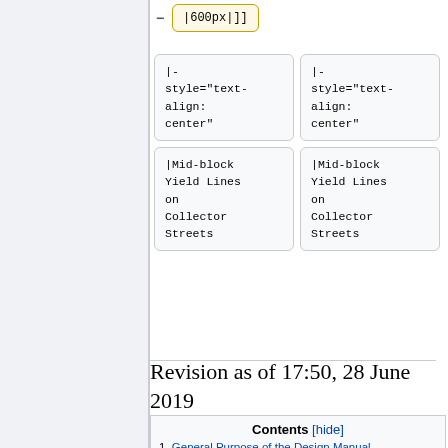[Figure (screenshot): Wiki edit interface showing a code box with '|600px|]]' in a yellow-bordered box with a minus/collapse button, followed by a 2x2 grid of grey code boxes containing '|-style="text-align:center"' and '|Mid-block Yield Lines on Collector Streets']
Revision as of 17:50, 28 June 2019
Contents [hide]
1 General Purpose of the Design Manual
  1.1 Purpose of Pavement Marking:
2 Public or Private Ownership and